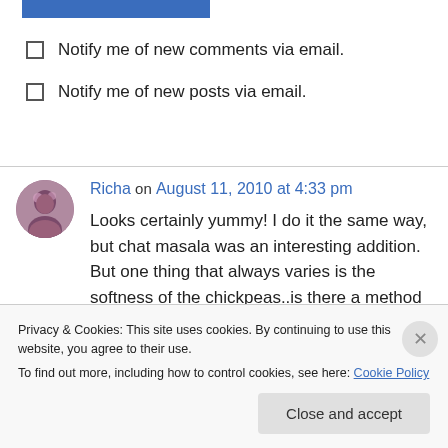[Figure (other): Blue horizontal bar/button at top left]
Notify me of new comments via email.
Notify me of new posts via email.
Richa on August 11, 2010 at 4:33 pm
Looks certainly yummy! I do it the same way, but chat masala was an interesting addition. But one thing that always varies is the softness of the chickpeas..is there a method to making them
Privacy & Cookies: This site uses cookies. By continuing to use this website, you agree to their use.
To find out more, including how to control cookies, see here: Cookie Policy